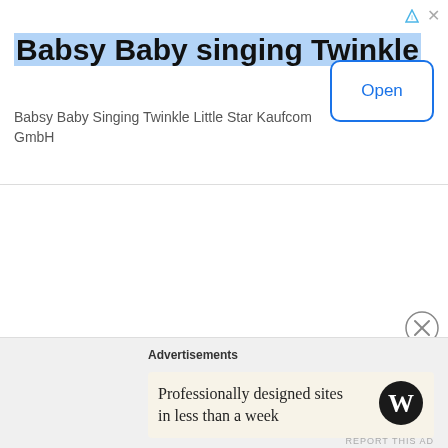Babsy Baby singing Twinkle
Babsy Baby Singing Twinkle Little Star Kaufcom GmbH
[Figure (screenshot): Open button with blue border and blue text reading 'Open']
[Figure (screenshot): Collapse chevron tab (caret up) on white rounded tab]
[Figure (screenshot): Close circle (X) icon in gray]
Advertisements
Professionally designed sites in less than a week
[Figure (logo): WordPress W logo in black circle]